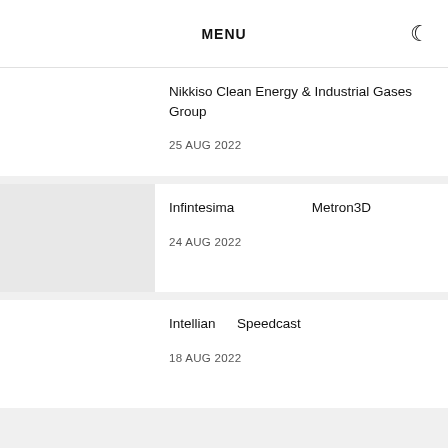MENU
Nikkiso Clean Energy & Industrial Gases Group 　　　　　　　　　　　　　　
25 AUG 2022
Infintesima 　　　　　　　　 Metron3D 　　
24 AUG 2022
Intellian 　 Speedcast 　　　　　　　　　　　　　　
18 AUG 2022